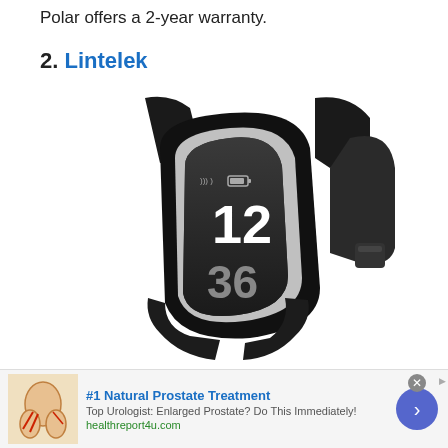Polar offers a 2-year warranty.
2. Lintelek
[Figure (photo): Close-up photo of a black Lintelek fitness tracker/smartwatch with a curved OLED display showing the time 12:36, with a black rubber wristband.]
#1 Natural Prostate Treatment
Top Urologist: Enlarged Prostate? Do This Immediately!
healthreport4u.com